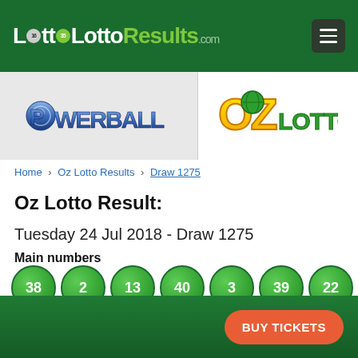LottoResults.com
[Figure (logo): Powerball lottery logo on grey background]
[Figure (logo): Oz Lotto lottery logo in yellow and green]
Home › Oz Lotto Results › Draw 1275
Oz Lotto Result:
Tuesday 24 Jul 2018 -  Draw 1275
Main numbers
[Figure (infographic): Seven green lottery balls showing numbers: 38, 2, 13, 40, 3, 39, 22]
BUY TICKETS